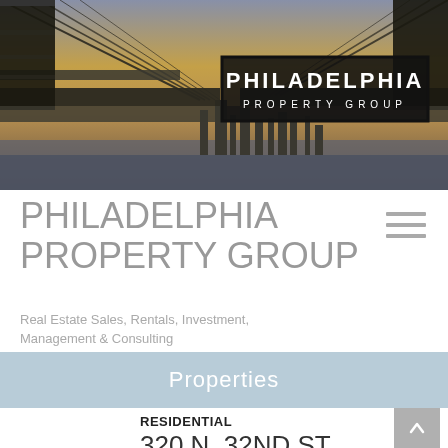[Figure (photo): Hero photo of Philadelphia bridge (Ben Franklin Bridge) with city skyline in background at dusk/golden hour. Contains the Philadelphia Property Group logo centered in a black box with white text.]
PHILADELPHIA PROPERTY GROUP
Real Estate Sales, Rentals, Investment, Management & Consulting
Properties
RESIDENTIAL
320 N. 32ND ST,